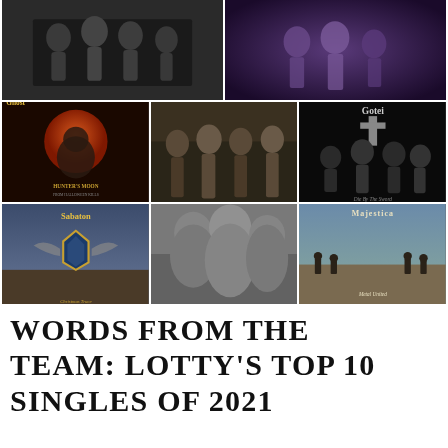[Figure (photo): Collage of 7 music-related photos arranged in 3 rows: row 1 has two band photos (a group in black, and a group in colorful light); row 2 has Ghost 'Hunter's Moon' album art, a 4-person band photo, and Gotei 'Die By The Sword' single art; row 3 has Sabaton 'Christmas Truce' album art, a black-and-white band portrait, and Majestica 'Metal United' album art.]
WORDS FROM THE TEAM: LOTTY'S TOP 10 SINGLES OF 2021